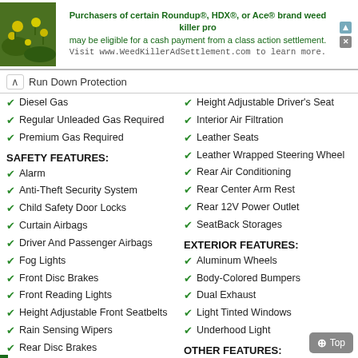[Figure (other): Advertisement banner: Roundup/HDX/Ace weed killer class action settlement. Text: 'Purchasers of certain Roundup®, HDX®, or Ace® brand weed killer products may be eligible for a cash payment from a class action settlement. Visit www.WeedKillerAdSettlement.com to learn more.' With a photo of yellow flowers on green background on left side.]
Run Down Protection
Height Adjustable Driver's Seat
Diesel Gas
Interior Air Filtration
Regular Unleaded Gas Required
Leather Seats
Premium Gas Required
Leather Wrapped Steering Wheel
SAFETY FEATURES:
Rear Air Conditioning
Alarm
Rear Center Arm Rest
Anti-Theft Security System
Rear 12V Power Outlet
Child Safety Door Locks
SeatBack Storages
Curtain Airbags
EXTERIOR FEATURES:
Driver And Passenger Airbags
Aluminum Wheels
Fog Lights
Body-Colored Bumpers
Front Disc Brakes
Dual Exhaust
Front Reading Lights
Light Tinted Windows
Height Adjustable Front Seatbelts
Underhood Light
Rain Sensing Wipers
OTHER FEATURES:
Rear Disc Brakes
Full-Size Spare Tire